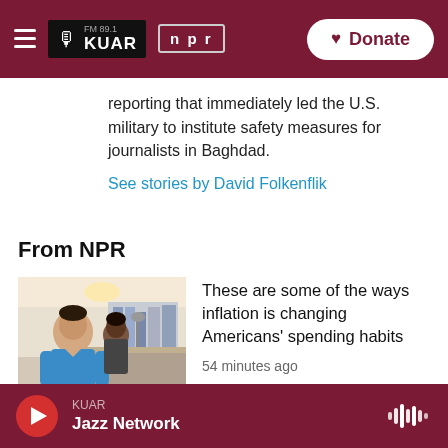FM 89.1 KUAR | npr — Donate
reporting that immediately led the U.S. military to institute safety measures for journalists in Baghdad.
See stories by David Folkenflik
From NPR
[Figure (photo): Photo of a man in a blue shirt at what appears to be a restaurant or store counter]
These are some of the ways inflation is changing Americans' spending habits
54 minutes ago
KUAR Jazz Network